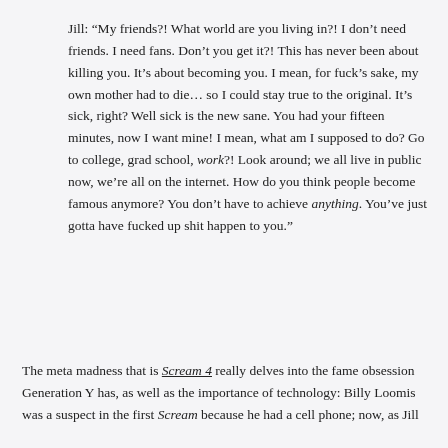Jill: “My friends?! What world are you living in?! I don’t need friends. I need fans. Don’t you get it?! This has never been about killing you. It’s about becoming you. I mean, for fuck’s sake, my own mother had to die… so I could stay true to the original. It’s sick, right? Well sick is the new sane. You had your fifteen minutes, now I want mine! I mean, what am I supposed to do? Go to college, grad school, work?! Look around; we all live in public now, we’re all on the internet. How do you think people become famous anymore? You don’t have to achieve anything. You’ve just gotta have fucked up shit happen to you.”
The meta madness that is Scream 4 really delves into the fame obsession Generation Y has, as well as the importance of technology: Billy Loomis was a suspect in the first Scream because he had a cell phone; now, as Jill